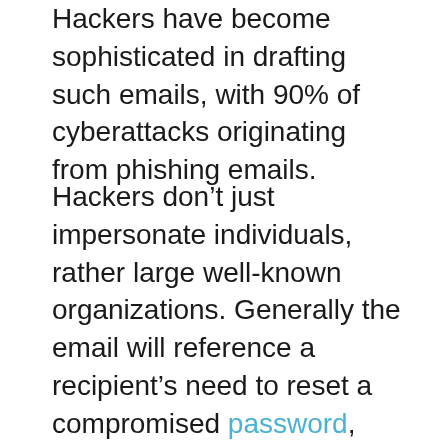Hackers have become sophisticated in drafting such emails, with 90% of cyberattacks originating from phishing emails.
Hackers don't just impersonate individuals, rather large well-known organizations. Generally the email will reference a recipient's need to reset a compromised password, prompting them to click on a link. The link will then redirect the recipient to a seemingly trusted site where users are asked to provide their login credentials. The hacker then has the recipient's login information for whichever company they are posing as.
Vade Secure recently conducted a report to determine phishers' favorite brands to